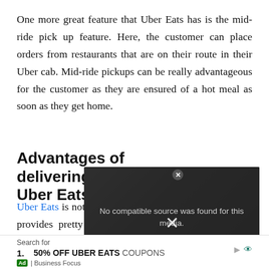One more great feature that Uber Eats has is the mid-ride pick up feature. Here, the customer can place orders from restaurants that are on their route in their Uber cab. Mid-ride pickups can be really advantageous for the customer as they are ensured of a hot meal as soon as they get home.
Advantages of delivering for Uber Eats
[Figure (screenshot): Video player overlay showing 'No compatible source was found for this media.' message with an X close button, overlaid on a dark background showing a restaurant kitchen scene.]
Uber Eats is not only a great food delivery app but also provides pretty great gigs for thousands of delivery persons. Some of the best advantages that
Search for | 1. 50% OFF UBER EATS COUPONS | Ad | Business Focus